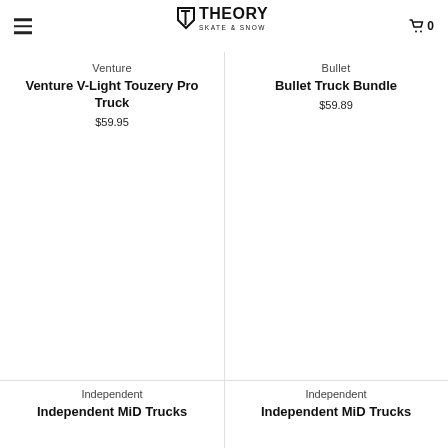Theory Skate & Snow
Venture
Venture V-Light Touzery Pro Truck
$59.95
Bullet
Bullet Truck Bundle
$59.89
Independent
Independent MiD Trucks
Independent
Independent MiD Trucks